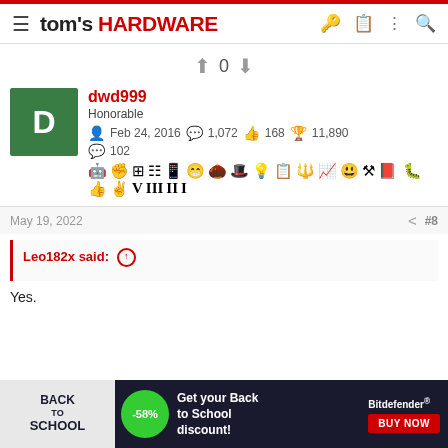tom's HARDWARE
↑ 0 ↓
dwd999
Honorable
Feb 24, 2016  1,072  168  11,890
102
May 19, 2022  #8
Leo182x said: ↑

Yes.
[Figure (screenshot): Back to School advertisement banner with -58% discount for Bitdefender]